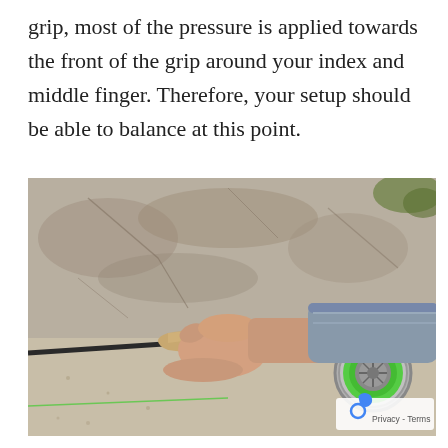grip, most of the pressure is applied towards the front of the grip around your index and middle finger. Therefore, your setup should be able to balance at this point.
[Figure (photo): A person's hand gripping a fly fishing rod with a green-spooled reel, set against a sandy/rocky background outdoors.]